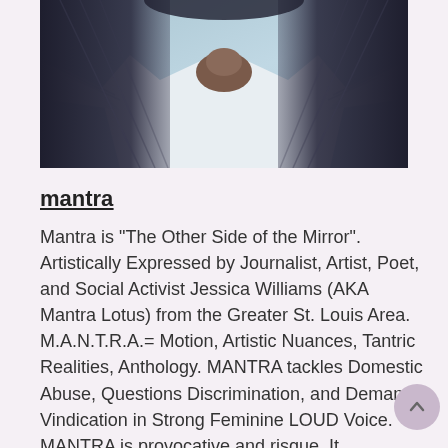[Figure (photo): A person wearing a white long-sleeve shirt with braided hair, hands clasped together in a prayer-like pose, photographed from mid-torso up against a light blue-grey background.]
mantra
Mantra is "The Other Side of the Mirror". Artistically Expressed by Journalist, Artist, Poet, and Social Activist Jessica Williams (AKA Mantra Lotus) from the Greater St. Louis Area. M.A.N.T.R.A.= Motion, Artistic Nuances, Tantric Realities, Anthology. MANTRA tackles Domestic Abuse, Questions Discrimination, and Demands Vindication in Strong Feminine LOUD Voice. MANTRA is provocative and risque. It challenges the mind and provokes internal